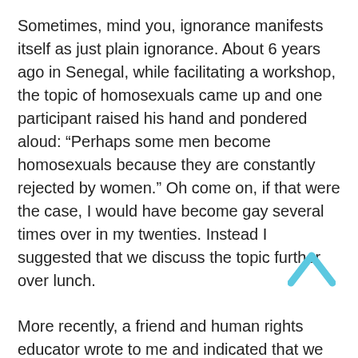Sometimes, mind you, ignorance manifests itself as just plain ignorance. About 6 years ago in Senegal, while facilitating a workshop, the topic of homosexuals came up and one participant raised his hand and pondered aloud: “Perhaps some men become homosexuals because they are constantly rejected by women.” Oh come on, if that were the case, I would have become gay several times over in my twenties. Instead I suggested that we discuss the topic further over lunch.
More recently, a friend and human rights educator wrote to me and indicated that we should not be discussing issues related to homosexuality because it is against the will of God. Go see Leviticus 20:13: “If a man also lie with mankind, as he lieth with a woman, both of them have committed an abomination: they shall surely be put to death. Their blood shall be upon them.” Gays don’t fare much